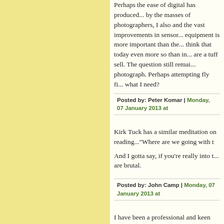Perhaps the ease of digital has produced... by the masses of photographers, I als... and the vast improvements in sensor... equipment is more important than th... think that today even more so than i... are a tuff sell. The question still rema... photograph. Perhaps attempting fly f... what I need?
Posted by: Peter Komar | Monday, 07 January 2013 at...
Kirk Tuck has a similar meditation o... reading..."Where are we going with ...
And I gotta say, if you're really into ... are brutal.
Posted by: John Camp | Monday, 07 January 2013 at ...
I have been a professional and keen ... eighties. Two years ago for almost ...